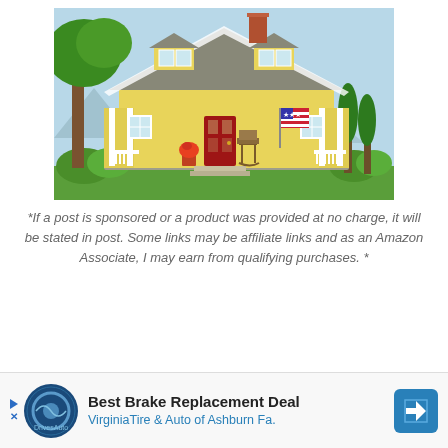[Figure (illustration): Cartoon illustration of a yellow two-story house with a gray roof, white porch railings, red front door, rocking chair on the porch, American flag, flower pot, green trees and bushes, and a light blue sky background.]
*If a post is sponsored or a product was provided at no charge, it will be stated in post. Some links may be affiliate links and as an Amazon Associate, I may earn from qualifying purchases. *
[Figure (screenshot): Advertisement banner for 'Best Brake Replacement Deal' from Virginia Tire & Auto of Ashburn Fa., with a circular tire/auto logo on the left and a blue navigation arrow icon on the right.]